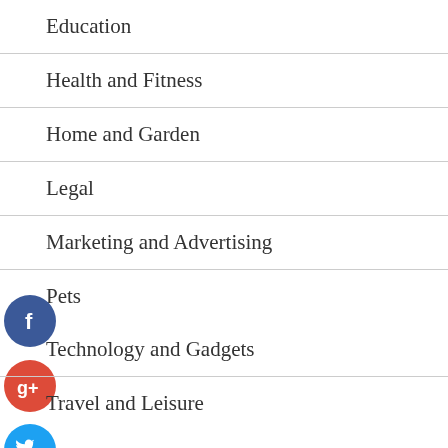Education
Health and Fitness
Home and Garden
Legal
Marketing and Advertising
Pets
Technology and Gadgets
Travel and Leisure